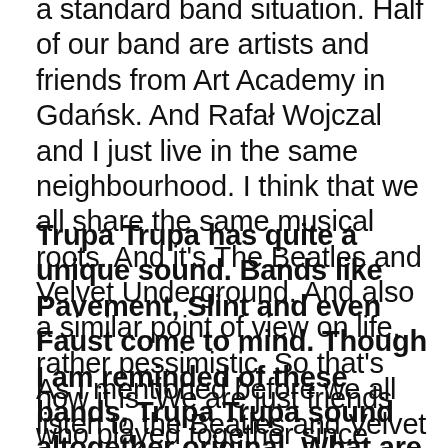a standard band situation. Half of our band are artists and friends from Art Academy in Gdańsk. And Rafał Wojczal and I just live in the same neighbourhood. I think that we all share the same musical roots. And it's The Beatles and Velvet Underground. And also a similar point of view on life, rather pessimistic. So that's how it is. We are just friends who played together since 2010.
Trupa Trupa has quite a unique sound. Bands like Pavement, Slint and even Faust come to mind. Though I am reminded of these bands, Trupa Trupa sound altogether original. What are your roots and influences? For those who have never heard your music, how would you describe it to them?
As I mentioned before we all listen to the Beatles and Velvet Underground, but other influences vary. For example, Wojtek Juchniewicz loves Fugazi, Sonic Youth, Swans, same for Tomek Pawluczuk, and Rafał Wojczal